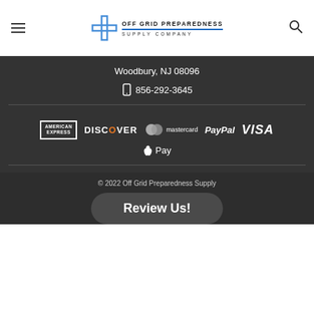[Figure (logo): Off Grid Preparedness Supply Company logo with blue cross and text]
Woodbury, NJ 08096
856-292-3645
[Figure (logo): Payment method logos: American Express, Discover, Mastercard, PayPal, Visa, Apple Pay]
© 2022 Off Grid Preparedness Supply
Review Us!